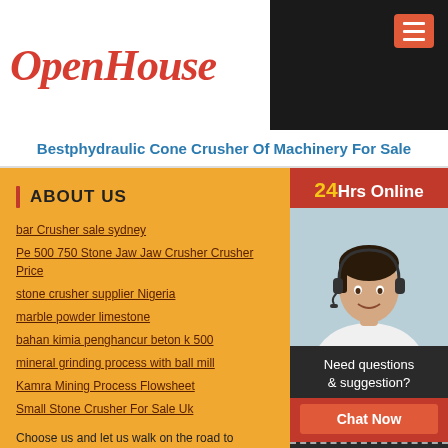[Figure (logo): OpenHouse logo in red italic serif font]
Bestphydraulic Cone Crusher Of Machinery For Sale
ABOUT US
bar Crusher sale sydney
Pe 500 750 Stone Jaw Jaw Crusher Crusher Price
stone crusher supplier Nigeria
marble powder limestone
bahan kimia penghancur beton k 500
mineral grinding process with ball mill
Kamra Mining Process Flowsheet
Small Stone Crusher For Sale Uk
Choose us and let us walk on the road to success together! online customer service now, and you will get a satisfactory
RECENT POSTS
[Figure (photo): 24Hrs Online customer service representative - woman with headset smiling]
Need questions & suggestion?
Chat Now
Enquiry
mumulugoods